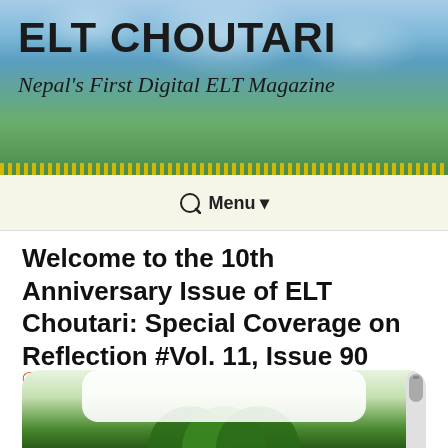ELT CHOUTARI
Nepal's First Digital ELT Magazine
Welcome to the 10th Anniversary Issue of ELT Choutari: Special Coverage on Reflection #Vol. 11, Issue 90
January 25, 2019   Editorial, Teacher's Experience/anecdotes   10th anniversary issue, editorial, ELT Choutari, reflections, reviews   Karna Rana
[Figure (photo): Bottom portion of a page showing a green circular logo/image partially visible at the bottom of the screen, with a scrollbar on the right side]